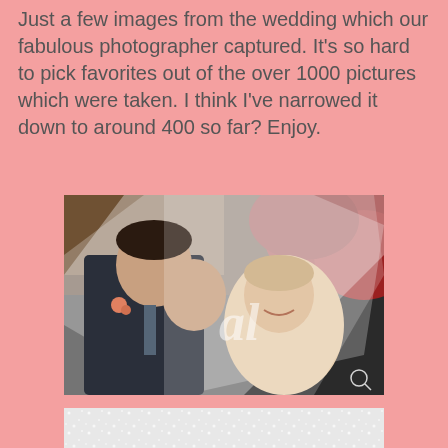Just a few images from the wedding which our fabulous photographer captured. It's so hard to pick favorites out of the over 1000 pictures which were taken. I think I've narrowed it down to around 400 so far? Enjoy.
[Figure (photo): Wedding photo of bride and groom under a white veil, faces close together, groom in dark suit with boutonniere, bride smiling, autumn red foliage in background, watermark 'al' overlay]
[Figure (photo): Close-up wedding photo of bride's midsection in white beaded dress, holding a single blue flower, wearing a pearl bracelet and ring, watermark 'al' overlay]